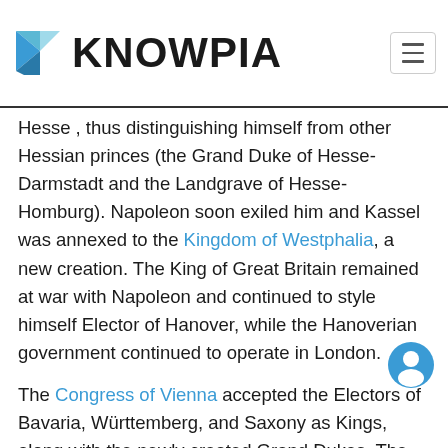KNOWPIA
Hesse , thus distinguishing himself from other Hessian princes (the Grand Duke of Hesse-Darmstadt and the Landgrave of Hesse-Homburg). Napoleon soon exiled him and Kassel was annexed to the Kingdom of Westphalia, a new creation. The King of Great Britain remained at war with Napoleon and continued to style himself Elector of Hanover, while the Hanoverian government continued to operate in London.
The Congress of Vienna accepted the Electors of Bavaria, Württemberg, and Saxony as Kings, along with the newly created Grand Dukes. The Elector of Hanover finally joined his fellow Electors by declaring himself the King of Hanover. The restored Elector of Hanover, Napoleon in captivity, tried to have himself...